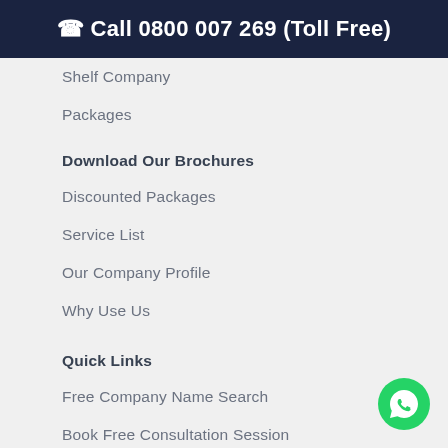☏ Call 0800 007 269 (Toll Free)
Shelf Company
Packages
Download Our Brochures
Discounted Packages
Service List
Our Company Profile
Why Use Us
Quick Links
Free Company Name Search
Book Free Consultation Session
Company Registration Guide
[Figure (illustration): WhatsApp contact button (green circle with WhatsApp icon) in bottom-right corner]